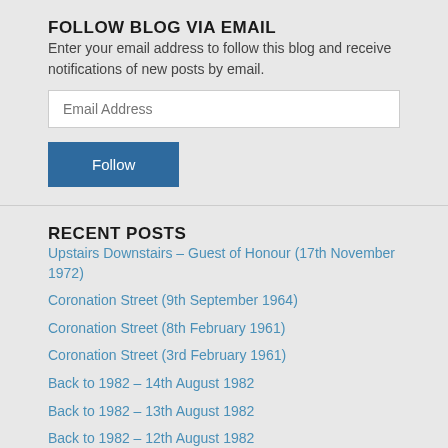FOLLOW BLOG VIA EMAIL
Enter your email address to follow this blog and receive notifications of new posts by email.
RECENT POSTS
Upstairs Downstairs – Guest of Honour (17th November 1972)
Coronation Street (9th September 1964)
Coronation Street (8th February 1961)
Coronation Street (3rd February 1961)
Back to 1982 – 14th August 1982
Back to 1982 – 13th August 1982
Back to 1982 – 12th August 1982
Back to 1982 – 11th August 1982
Back to 1982 – 10th August 1982